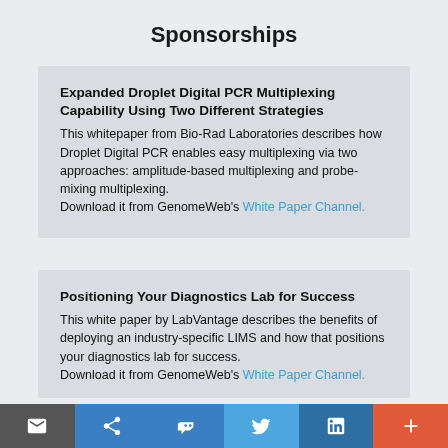Sponsorships
Expanded Droplet Digital PCR Multiplexing Capability Using Two Different Strategies
This whitepaper from Bio-Rad Laboratories describes how Droplet Digital PCR enables easy multiplexing via two approaches: amplitude-based multiplexing and probe-mixing multiplexing.
Download it from GenomeWeb's White Paper Channel.
Positioning Your Diagnostics Lab for Success
This white paper by LabVantage describes the benefits of deploying an industry-specific LIMS and how that positions your diagnostics lab for success.
Download it from GenomeWeb's White Paper Channel.